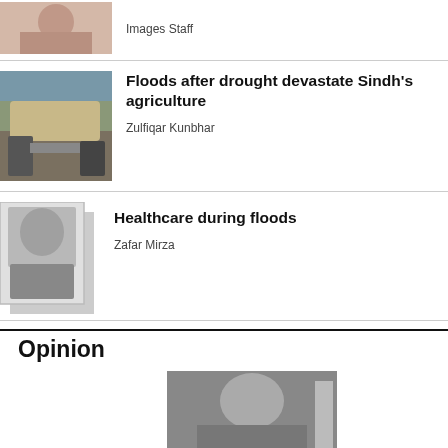Images Staff
Floods after drought devastate Sindh's agriculture
Zulfiqar Kunbhar
Healthcare during floods
Zafar Mirza
Opinion
[Figure (photo): Partial view of a person at top of page]
[Figure (photo): Truck loaded with goods, flood/agriculture context]
[Figure (photo): Portrait of a man in suit, Zafar Mirza]
[Figure (photo): Black and white portrait of an elderly man for Opinion section]